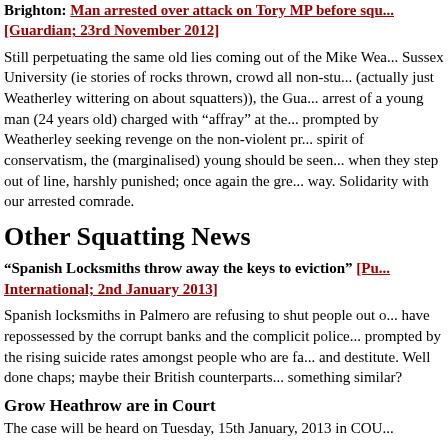Brighton: Man arrested over attack on Tory MP before squ... [Guardian; 23rd November 2012]
Still perpetuating the same old lies coming out of the Mike Wea... Sussex University (ie stories of rocks thrown, crowd all non-stu... (actually just Weatherley wittering on about squatters)), the Gua... arrest of a young man (24 years old) charged with "affray" at the... prompted by Weatherley seeking revenge on the non-violent pr... spirit of conservatism, the (marginalised) young should be seen... when they step out of line, harshly punished; once again the gre... way. Solidarity with our arrested comrade.
Other Squatting News
"Spanish Locksmiths throw away the keys to eviction" [Pu... International; 2nd January 2013]
Spanish locksmiths in Palmero are refusing to shut people out o... have repossessed by the corrupt banks and the complicit police... prompted by the rising suicide rates amongst people who are fa... and destitute. Well done chaps; maybe their British counterparts... something similar?
Grow Heathrow are in Court
The case will be heard on Tuesday, 15th January, 2013 in COU...